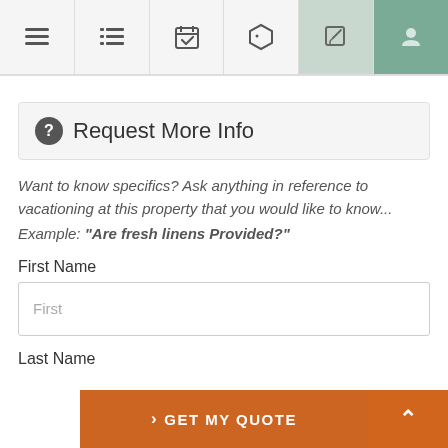[Figure (screenshot): Navigation tab bar with 6 icons: hamburger menu, list, calendar with checkmark, price tag, edit/pencil, and a person/user icon. Last two tabs have green/teal background.]
Request More Info
Want to know specifics? Ask anything in reference to vacationing at this property that you would like to know...
Example: “Are fresh linens Provided?”
First Name
First
Last Name
> GET MY QUOTE